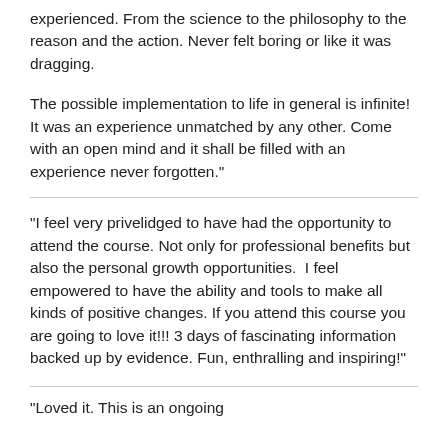experienced. From the science to the philosophy to the reason and the action. Never felt boring or like it was dragging.
The possible implementation to life in general is infinite! It was an experience unmatched by any other. Come with an open mind and it shall be filled with an experience never forgotten."
"I feel very privelidged to have had the opportunity to attend the course. Not only for professional benefits but also the personal growth opportunities.  I feel empowered to have the ability and tools to make all kinds of positive changes. If you attend this course you are going to love it!!! 3 days of fascinating information backed up by evidence. Fun, enthralling and inspiring!"
"Loved it. This is an ongoing...